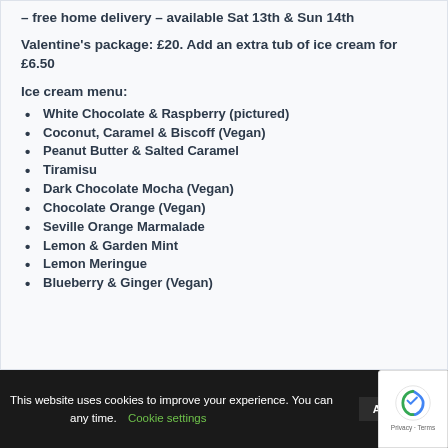– free home delivery – available Sat 13th & Sun 14th
Valentine's package: £20. Add an extra tub of ice cream for £6.50
Ice cream menu:
White Chocolate & Raspberry (pictured)
Coconut, Caramel & Biscoff (Vegan)
Peanut Butter & Salted Caramel
Tiramisu
Dark Chocolate Mocha (Vegan)
Chocolate Orange (Vegan)
Seville Orange Marmalade
Lemon & Garden Mint
Lemon Meringue
Blueberry & Ginger (Vegan)
This website uses cookies to improve your experience. You can any time. Cookie settings ACCEPT